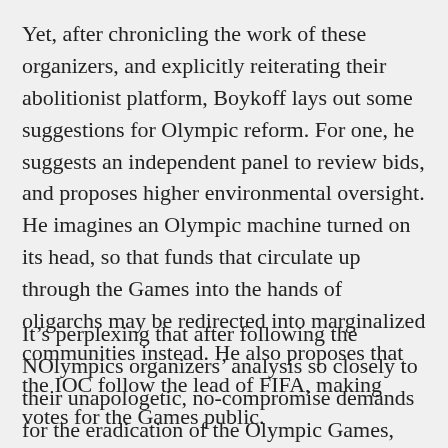Yet, after chronicling the work of these organizers, and explicitly reiterating their abolitionist platform, Boykoff lays out some suggestions for Olympic reform. For one, he suggests an independent panel to review bids, and proposes higher environmental oversight. He imagines an Olympic machine turned on its head, so that funds that circulate up through the Games into the hands of oligarchs may be redirected into marginalized communities instead. He also proposes that the IOC follow the lead of FIFA, making votes for the Games public.
It’s perplexing that after following the NOlympics organizers’ analysis so closely to their unapologetic, no-compromise demands for the eradication of the Olympic Games, Boykoff suggests reform. He implies that the IOC